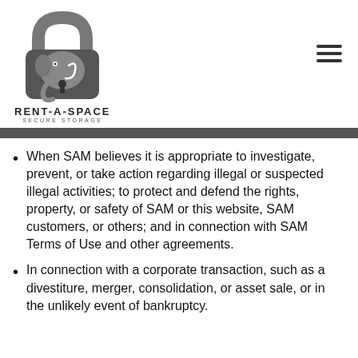[Figure (logo): Rent-A-Space Secure Storage logo: elephant inside a padlock shape, grey tones, with text RENT-A-SPACE and SECURE STORAGE below]
When SAM believes it is appropriate to investigate, prevent, or take action regarding illegal or suspected illegal activities; to protect and defend the rights, property, or safety of SAM or this website, SAM customers, or others; and in connection with SAM Terms of Use and other agreements.
In connection with a corporate transaction, such as a divestiture, merger, consolidation, or asset sale, or in the unlikely event of bankruptcy.